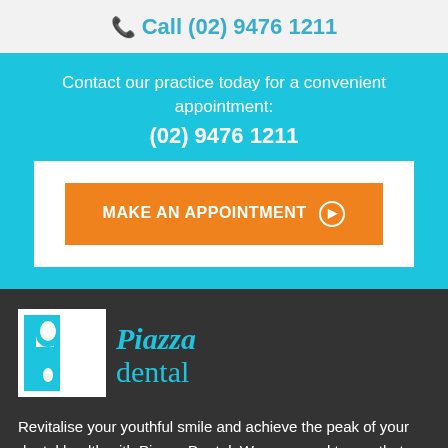Call (02) 9476 1211
Contact our practice today for a convenient appointment:
(02) 9476 1211
MAKE AN APPOINTMENT ▶
[Figure (logo): Piazza Dental logo: White square with teal 'Pd' letterform icon on left, teal serif text 'Piazza dental' on right]
Revitalise your youthful smile and achieve the peak of your dental health with Piazza Dental. We are proud to say that our clinic is the home of the leading dentists in Hornsby today. Achieve the perfect smile that you've always dreamed of by